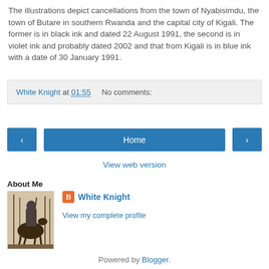The illustrations depict cancellations from the town of Nyabisimdu, the town of Butare in southern Rwanda and the capital city of Kigali. The former is in black ink and dated 22 August 1991, the second is in violet ink and probably dated 2002 and that from Kigali is in blue ink with a date of 30 January 1991.
White Knight at 01:55   No comments:
‹  Home  ›
View web version
About Me
[Figure (illustration): Monochrome engraving or woodcut illustration depicting a knight on horseback in a forest scene, reminiscent of Dürer's 'Knight, Death and the Devil']
White Knight
View my complete profile
Powered by Blogger.